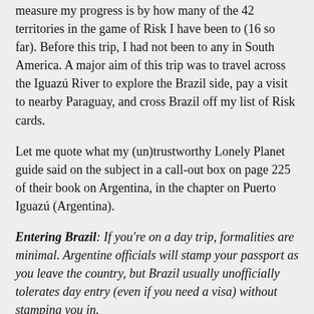measure my progress is by how many of the 42 territories in the game of Risk I have been to (16 so far). Before this trip, I had not been to any in South America. A major aim of this trip was to travel across the Iguazú River to explore the Brazil side, pay a visit to nearby Paraguay, and cross Brazil off my list of Risk cards.
Let me quote what my (un)trustworthy Lonely Planet guide said on the subject in a call-out box on page 225 of their book on Argentina, in the chapter on Puerto Iguazú (Argentina).
Entering Brazil: If you're on a day trip, formalities are minimal. Argentine officials will stamp your passport as you leave the country, but Brazil usually unofficially tolerates day entry (even if you need a visa) without stamping you in.
There are also lots of forums on the topic of the visa requirements for US citizens wishing to visit the Brazil side of Iguazu Falls. The general consensus on these forums lines up with what Lonely Planet says. I've read comments that the